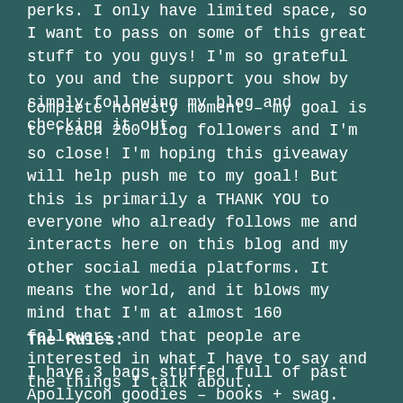perks. I only have limited space, so I want to pass on some of this great stuff to you guys! I'm so grateful to you and the support you show by simply following my blog and checking it out.
Complete honesty moment – my goal is to reach 200 blog followers and I'm so close! I'm hoping this giveaway will help push me to my goal! But this is primarily a THANK YOU to everyone who already follows me and interacts here on this blog and my other social media platforms. It means the world, and it blows my mind that I'm at almost 160 followers and that people are interested in what I have to say and the things I talk about.
The Rules:
I have 3 bags stuffed full of past Apollycon goodies – books + swag. They don't all contain